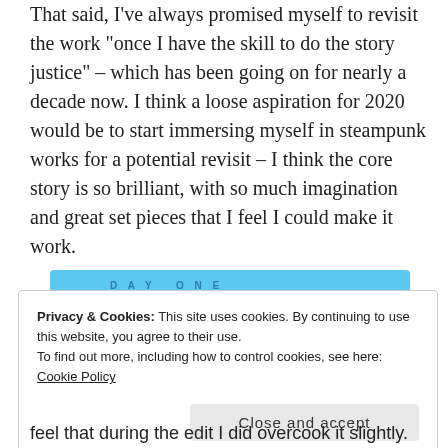That said, I've always promised myself to revisit the work "once I have the skill to do the story justice" – which has been going on for nearly a decade now. I think a loose aspiration for 2020 would be to start immersing myself in steampunk works for a potential revisit – I think the core story is so brilliant, with so much imagination and great set pieces that I feel I could make it work.
[Figure (infographic): Day One journaling app advertisement banner. Light blue background with three circular icons depicting a book, a person, and a notepad. Text reads 'DAY ONE' and 'The only journaling app you'll ever need.' with a 'REPORT THIS AD' link.]
Privacy & Cookies: This site uses cookies. By continuing to use this website, you agree to their use.
To find out more, including how to control cookies, see here: Cookie Policy

Close and accept
feel that during the edit I did overcook it slightly.